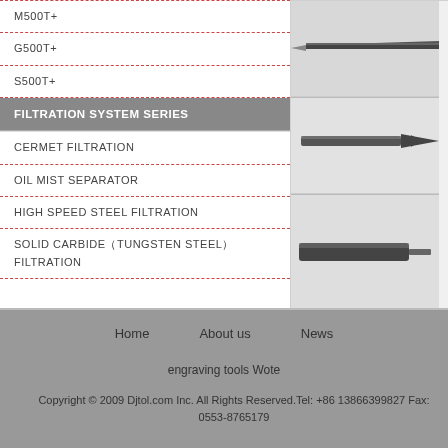M500T+
G500T+
S500T+
FILTRATION SYSTEM SERIES
CERMET FILTRATION
OIL MIST SEPARATOR
HIGH SPEED STEEL FILTRATION
SOLID CARBIDE（TUNGSTEN STEEL）FILTRATION
[Figure (photo): Three machining tool images shown vertically: top - a pointed engraving bit/drill, middle - a two-flute spiral end mill, bottom - a cylindrical carbide tool]
Home    About us    News
engraving tools Wote
Copyright © 2009 Djtol.com Inc. All Rights Reserved.Tel: +86 13866399827 Fax: 0553-8765179